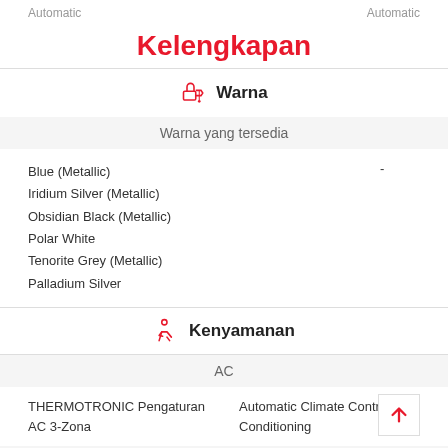Automatic
Automatic
Kelengkapan
Warna
Warna yang tersedia
Blue (Metallic)
Iridium Silver (Metallic)
Obsidian Black (Metallic)
Polar White
Tenorite Grey (Metallic)
Palladium Silver
-
Kenyamanan
AC
THERMOTRONIC Pengaturan AC 3-Zona
Automatic Climate Control Air Conditioning
Lampu Interior